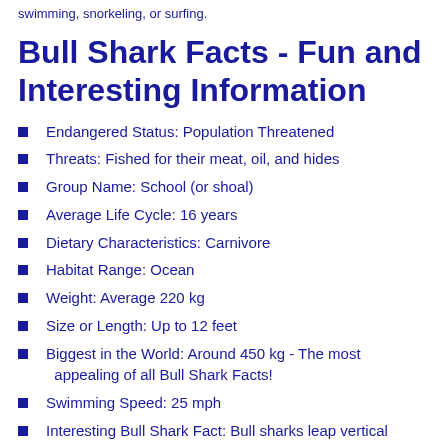swimming, snorkeling, or surfing.
Bull Shark Facts - Fun and Interesting Information
Endangered Status: Population Threatened
Threats: Fished for their meat, oil, and hides
Group Name: School (or shoal)
Average Life Cycle: 16 years
Dietary Characteristics: Carnivore
Habitat Range: Ocean
Weight: Average 220 kg
Size or Length: Up to 12 feet
Biggest in the World: Around 450 kg - The most appealing of all Bull Shark Facts!
Swimming Speed: 25 mph
Interesting Bull Shark Fact: Bull sharks leap vertical